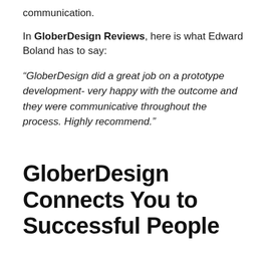communication.
In GloberDesign Reviews, here is what Edward Boland has to say:
“GloberDesign did a great job on a prototype development- very happy with the outcome and they were communicative throughout the process. Highly recommend.”
GloberDesign Connects You to Successful People
As the old saying goes “Success is well connected to success.” Such is the case with GloberDesign, as